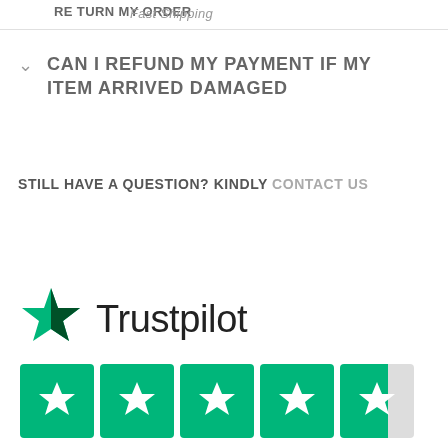RETURN MY ORDER / Fast Shipping
CAN I REFUND MY PAYMENT IF MY ITEM ARRIVED DAMAGED
STILL HAVE A QUESTION? KINDLY CONTACT US
[Figure (logo): Trustpilot logo with green star, text 'Trustpilot', five green rating stars, and rating text '8.7 out of 10']
8.7 out of 10